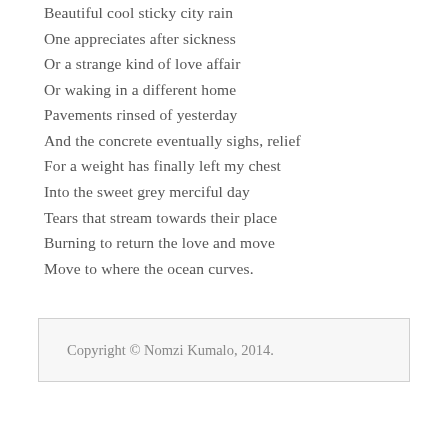Beautiful cool sticky city rain
One appreciates after sickness
Or a strange kind of love affair
Or waking in a different home
Pavements rinsed of yesterday
And the concrete eventually sighs, relief
For a weight has finally left my chest
Into the sweet grey merciful day
Tears that stream towards their place
Burning to return the love and move
Move to where the ocean curves.
Copyright © Nomzi Kumalo, 2014.